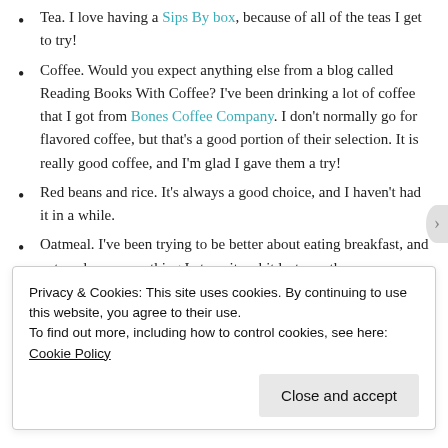Tea. I love having a Sips By box, because of all of the teas I get to try!
Coffee. Would you expect anything else from a blog called Reading Books With Coffee? I've been drinking a lot of coffee that I got from Bones Coffee Company. I don't normally go for flavored coffee, but that's a good portion of their selection. It is really good coffee, and I'm glad I gave them a try!
Red beans and rice. It's always a good choice, and I haven't had it in a while.
Oatmeal. I've been trying to be better about eating breakfast, and oatmeal was something I ate quite a bit last month.
Grateful For:
Privacy & Cookies: This site uses cookies. By continuing to use this website, you agree to their use.
To find out more, including how to control cookies, see here: Cookie Policy
Close and accept